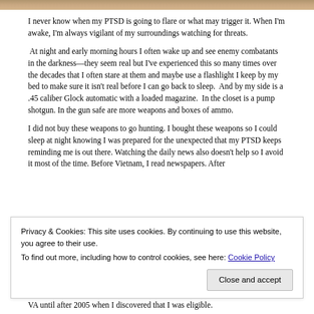[Figure (photo): Partial photo strip at top of page, showing a cropped image in warm brown/tan tones]
I never know when my PTSD is going to flare or what may trigger it. When I'm awake, I'm always vigilant of my surroundings watching for threats.
At night and early morning hours I often wake up and see enemy combatants in the darkness—they seem real but I've experienced this so many times over the decades that I often stare at them and maybe use a flashlight I keep by my bed to make sure it isn't real before I can go back to sleep.  And by my side is a .45 caliber Glock automatic with a loaded magazine.  In the closet is a pump shotgun. In the gun safe are more weapons and boxes of ammo.
I did not buy these weapons to go hunting. I bought these weapons so I could sleep at night knowing I was prepared for the unexpected that my PTSD keeps reminding me is out there. Watching the daily news also doesn't help so I avoid it most of the time. Before Vietnam, I read newspapers. After
Privacy & Cookies: This site uses cookies. By continuing to use this website, you agree to their use.
To find out more, including how to control cookies, see here: Cookie Policy
VA until after 2005 when I discovered that I was eligible.